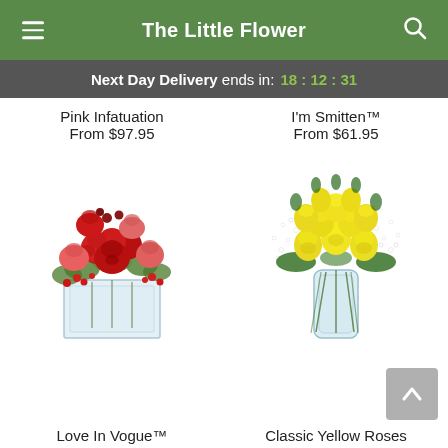The Little Flower
Next Day Delivery ends in: 18:12:31
Pink Infatuation
From $97.95
I'm Smitten™
From $61.95
[Figure (photo): Red and pink roses in a glass cube vase — Love In Vogue™ arrangement]
[Figure (photo): Classic Yellow Roses in a tall glass vase with baby's breath]
Love In Vogue™
Classic Yellow Roses